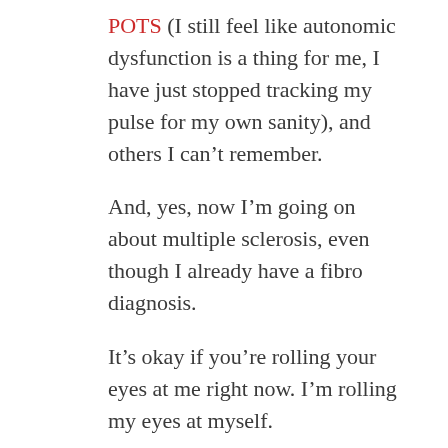POTS (I still feel like autonomic dysfunction is a thing for me, I have just stopped tracking my pulse for my own sanity), and others I can't remember.
And, yes, now I'm going on about multiple sclerosis, even though I already have a fibro diagnosis.
It's okay if you're rolling your eyes at me right now. I'm rolling my eyes at myself.
Each time a medical professional or friend or relative says something to suggest I might be a hypochondriac, I count to five and tell myself: You don't know what it's like to be them; they don't know what it's like to be you. Then I move on to the next thing and ask, "But have